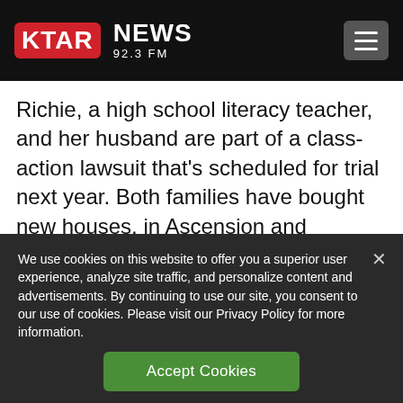KTAR NEWS 92.3 FM
Richie, a high school literacy teacher, and her husband are part of a class-action lawsuit that's scheduled for trial next year. Both families have bought new houses, in Ascension and Assumption parishes. After two decades together in Bayou Corne, they
We use cookies on this website to offer you a superior user experience, analyze site traffic, and personalize content and advertisements. By continuing to use our site, you consent to our use of cookies. Please visit our Privacy Policy for more information.
Accept Cookies